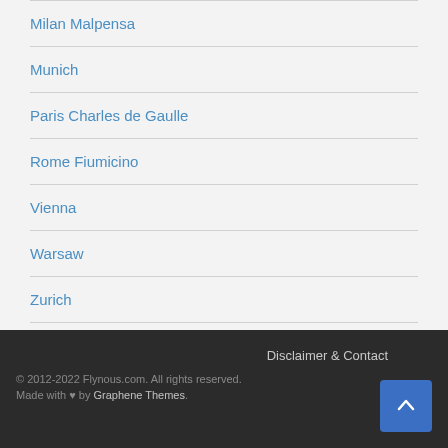Milan Malpensa
Munich
Paris Charles de Gaulle
Rome Fiumicino
Vienna
Warsaw
Zurich
Disclaimer & Contact
© 2012-2022 Flynous.com. All rights reserved.
Made with ♥ by Graphene Themes.